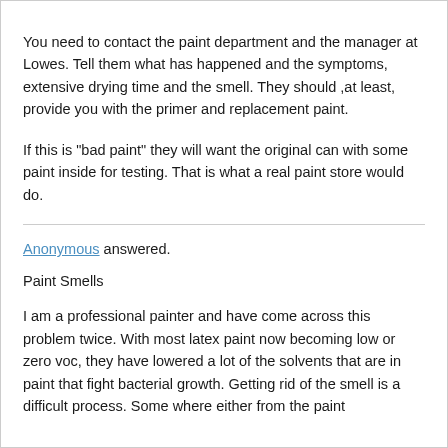You need to contact the paint department and the manager at Lowes. Tell them what has happened and the symptoms, extensive drying time and the smell. They should ,at least, provide you with the primer and replacement paint.
If this is "bad paint" they will want the original can with some paint inside for testing. That is what a real paint store would do.
Anonymous answered.
Paint Smells
I am a professional painter and have come across this problem twice. With most latex paint now becoming low or zero voc, they have lowered a lot of the solvents that are in paint that fight bacterial growth. Getting rid of the smell is a difficult process. Some where either from the paint